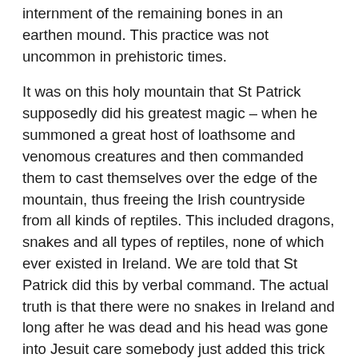internment of the remaining bones in an earthen mound. This practice was not uncommon in prehistoric times.
It was on this holy mountain that St Patrick supposedly did his greatest magic – when he summoned a great host of loathsome and venomous creatures and then commanded them to cast themselves over the edge of the mountain, thus freeing the Irish countryside from all kinds of reptiles. This included dragons, snakes and all types of reptiles, none of which ever existed in Ireland. We are told that St Patrick did this by verbal command. The actual truth is that there were no snakes in Ireland and long after he was dead and his head was gone into Jesuit care somebody just added this trick to St Patrick's name. It was as if the Pagan traditions were still so strong with the Lughnasa pilgrimage to the Reek in August that something had to be done to displace the old ways and such a fantastic story as dragon/snake banishing fitted the bill. It had to be long after St